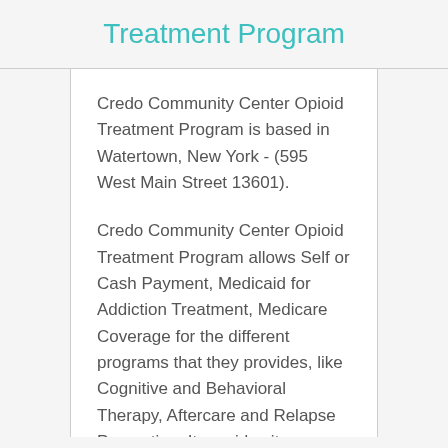Treatment Program
Credo Community Center Opioid Treatment Program is based in Watertown, New York - (595 West Main Street 13601).
Credo Community Center Opioid Treatment Program allows Self or Cash Payment, Medicaid for Addiction Treatment, Medicare Coverage for the different programs that they provides, like Cognitive and Behavioral Therapy, Aftercare and Relapse Prevention. It provides its services in various environments, such as Outpatient Drug Treatment.
The program provides all of their services for